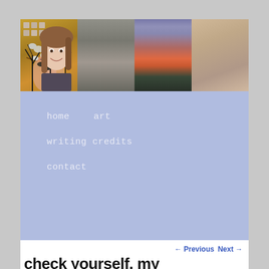[Figure (photo): Banner with four photos side by side: a hummingbird in flight against golden background, a hand holding rocks/pebbles, a purple and red sunset landscape with bare trees, and a smiling woman with long brown hair]
home    art    writing credits    contact
← Previous   Next →
check yourself, my